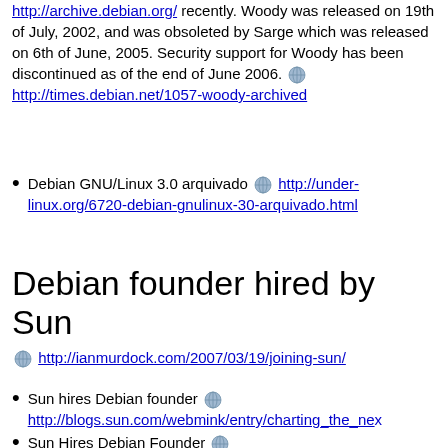http://archive.debian.org/ recently. Woody was released on 19th of July, 2002, and was obsoleted by Sarge which was released on 6th of June, 2005. Security support for Woody has been discontinued as of the end of June 2006. [globe] http://times.debian.net/1057-woody-archived
Debian GNU/Linux 3.0 arquivado [globe] http://under-linux.org/6720-debian-gnulinux-30-arquivado.html
Debian founder hired by Sun
[globe] http://ianmurdock.com/2007/03/19/joining-sun/
Sun hires Debian founder [globe] http://blogs.sun.com/webmink/entry/charting_the_ne...
Sun Hires Debian Founder [globe] http://www.linuxtoday.com/it_management/20070319...
Debian Founder Finds Spot in Sun [globe]